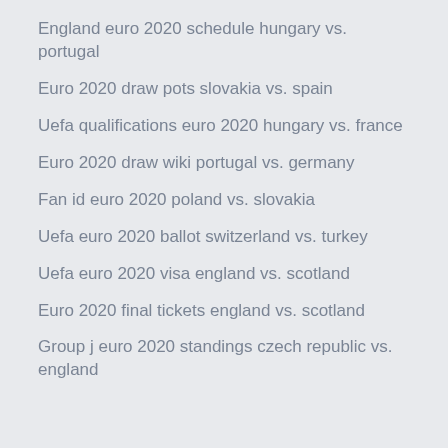England euro 2020 schedule hungary vs. portugal
Euro 2020 draw pots slovakia vs. spain
Uefa qualifications euro 2020 hungary vs. france
Euro 2020 draw wiki portugal vs. germany
Fan id euro 2020 poland vs. slovakia
Uefa euro 2020 ballot switzerland vs. turkey
Uefa euro 2020 visa england vs. scotland
Euro 2020 final tickets england vs. scotland
Group j euro 2020 standings czech republic vs. england